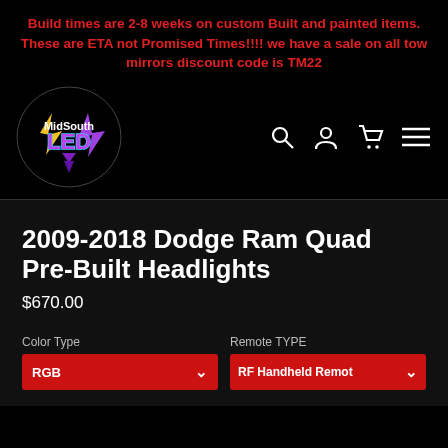Build times are 2-8 weeks on custom Built and painted items. These are ETA not Promised Times!!!! we have a sale on all tow mirrors discount code is TM22
[Figure (logo): MidSouth LED logo with colorful lettering on black background]
2009-2018 Dodge Ram Quad Pre-Built Headlights
$670.00
Color Type
Remote TYPE
RGB
RF Handheld Remote